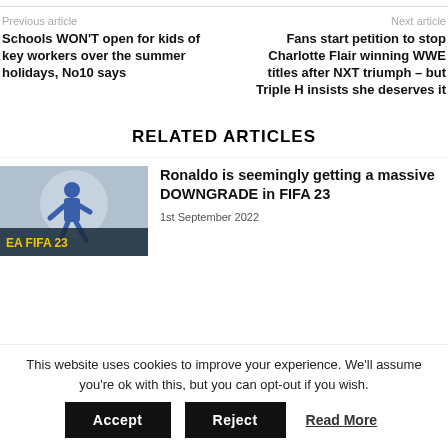Previous article | Next article
Schools WON'T open for kids of key workers over the summer holidays, No10 says
Fans start petition to stop Charlotte Flair winning WWE titles after NXT triumph – but Triple H insists she deserves it
RELATED ARTICLES
[Figure (photo): FIFA 23 cover showing Ronaldo running in blue jersey]
Ronaldo is seemingly getting a massive DOWNGRADE in FIFA 23
1st September 2022
This website uses cookies to improve your experience. We'll assume you're ok with this, but you can opt-out if you wish.
Accept | Reject | Read More